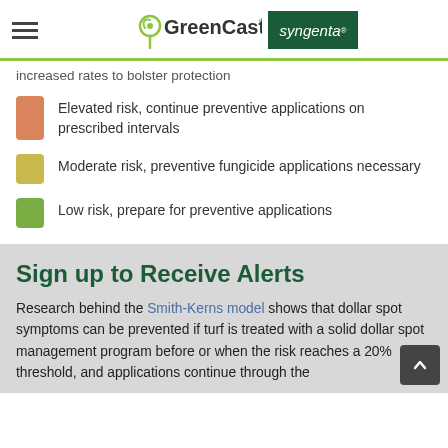GreenCast | Syngenta
increased rates to bolster protection
Elevated risk, continue preventive applications on prescribed intervals
Moderate risk, preventive fungicide applications necessary
Low risk, prepare for preventive applications
Sign up to Receive Alerts
Research behind the Smith-Kerns model shows that dollar spot symptoms can be prevented if turf is treated with a solid dollar spot management program before or when the risk reaches a 20% threshold, and applications continue through the